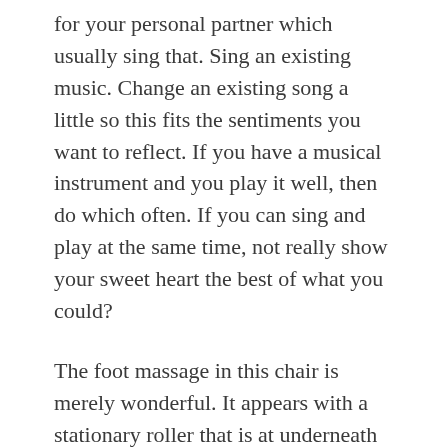for your personal partner which usually sing that. Sing an existing music. Change an existing song a little so this fits the sentiments you want to reflect. If you have a musical instrument and you play it well, then do which often. If you can sing and play at the same time, not really show your sweet heart the best of what you could?
The foot massage in this chair is merely wonderful. It appears with a stationary roller that is at underneath the arch of your foot. This roller has an additional dimension of massage coupled making use of compression trip massage of the 14 engineered airbags.
It is a marvelous massage both that people like to feed